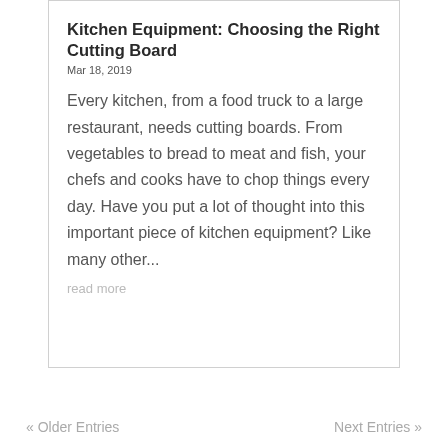Kitchen Equipment: Choosing the Right Cutting Board
Mar 18, 2019
Every kitchen, from a food truck to a large restaurant, needs cutting boards. From vegetables to bread to meat and fish, your chefs and cooks have to chop things every day. Have you put a lot of thought into this important piece of kitchen equipment? Like many other...
read more
« Older Entries   Next Entries »